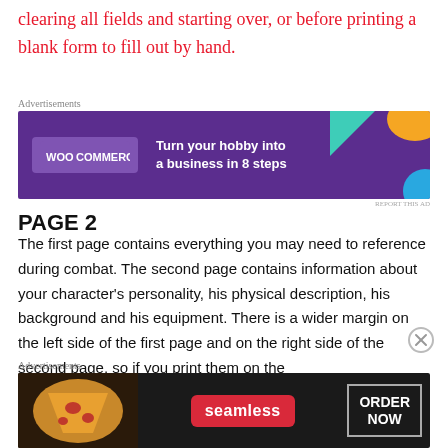clearing all fields and starting over, or before printing a blank form to fill out by hand.
[Figure (infographic): WooCommerce advertisement banner: purple background with teal triangle and orange shape, WooCommerce logo on left, text 'Turn your hobby into a business in 8 steps' on right.]
PAGE 2
The first page contains everything you may need to reference during combat. The second page contains information about your character's personality, his physical description, his background and his equipment. There is a wider margin on the left side of the first page and on the right side of the second page, so if you print them on the
[Figure (infographic): Seamless food delivery advertisement banner: dark background with pizza image on left, Seamless red logo in center, 'ORDER NOW' box on right.]